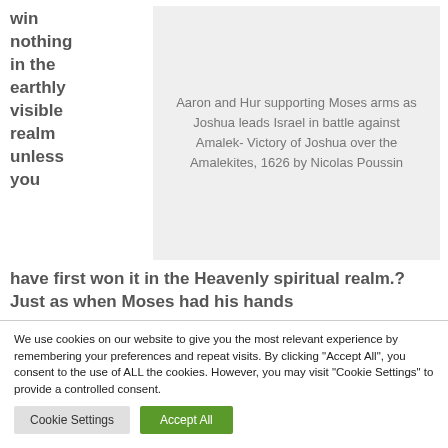win nothing in the earthly visible realm unless you
Aaron and Hur supporting Moses arms as Joshua leads Israel in battle against Amalek- Victory of Joshua over the Amalekites, 1626 by Nicolas Poussin
have first won it in the Heavenly spiritual realm.? Just as when Moses had his hands
We use cookies on our website to give you the most relevant experience by remembering your preferences and repeat visits. By clicking "Accept All", you consent to the use of ALL the cookies. However, you may visit "Cookie Settings" to provide a controlled consent.